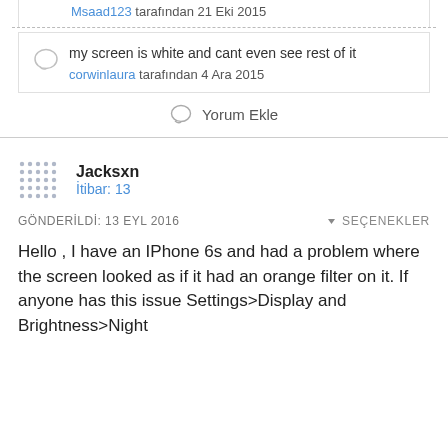Msaad123 tarafından 21 Eki 2015
my screen is white and cant even see rest of it
corwinlaura tarafından 4 Ara 2015
Yorum Ekle
Jacksxn
İtibar: 13
GÖNDERİLDİ: 13 EYL 2016   SEÇENEKLER
Hello , I have an IPhone 6s and had a problem where the screen looked as if it had an orange filter on it. If anyone has this issue Settings>Display and Brightness>Night